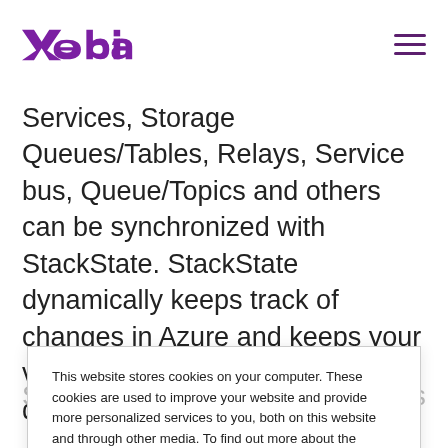Xebia
Services, Storage Queues/Tables, Relays, Service bus, Queue/Topics and others can be synchronized with StackState. StackState dynamically keeps track of changes in Azure and keeps your view of the IT landscape up-to-date.
This website stores cookies on your computer. These cookies are used to improve your website and provide more personalized services to you, both on this website and through other media. To find out more about the cookies we use, see our Privacy Policy.

We won't track your information when you decline. But in order to comply with your preferences, we'll have to use just one tiny cookie so that you're not asked to make this choice again.